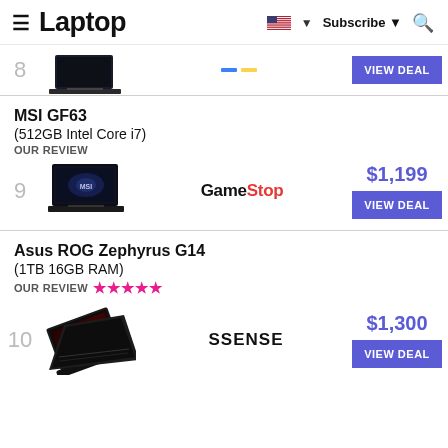Laptop — Subscribe — Search
[Figure (screenshot): Partial product row showing rank 8 laptop thumbnail and VIEW DEAL button]
MSI GF63 (512GB Intel Core i7)
OUR REVIEW
[Figure (screenshot): Product listing row 9: MSI GF63 laptop image, GameStop retailer logo, $1,199 price, VIEW DEAL button]
Asus ROG Zephyrus G14 (1TB 16GB RAM)
OUR REVIEW ★★★★★
[Figure (screenshot): Product listing row 10: Asus ROG Zephyrus G14 laptop image, SSENSE retailer, $1,300 price, VIEW DEAL button]